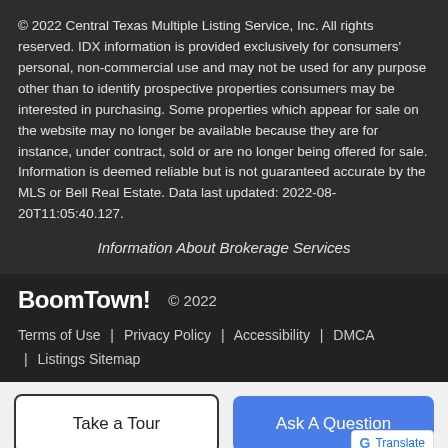© 2022 Central Texas Multiple Listing Service, Inc. All rights reserved. IDX information is provided exclusively for consumers' personal, non-commercial use and may not be used for any purpose other than to identify prospective properties consumers may be interested in purchasing. Some properties which appear for sale on the website may no longer be available because they are for instance, under contract, sold or are no longer being offered for sale. Information is deemed reliable but is not guaranteed accurate by the MLS or Bell Real Estate. Data last updated: 2022-08-20T11:05:40.127.
Information About Brokerage Services
BoomTown! © 2022  Terms of Use | Privacy Policy | Accessibility | DMCA | Listings Sitemap
Take a Tour
Ask A Question
[Figure (logo): Google Translate badge with colored G logo and underlined Translate text]